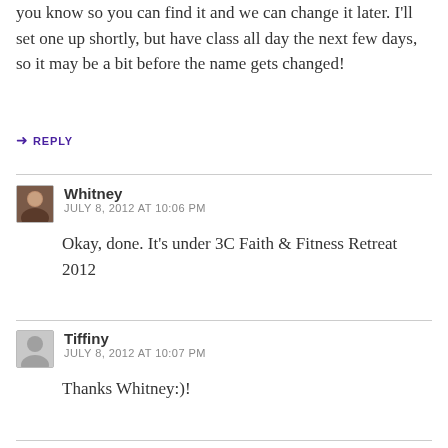you know so you can find it and we can change it later. I'll set one up shortly, but have class all day the next few days, so it may be a bit before the name gets changed!
↳ REPLY
Whitney
JULY 8, 2012 AT 10:06 PM
Okay, done. It's under 3C Faith & Fitness Retreat 2012
Tiffiny
JULY 8, 2012 AT 10:07 PM
Thanks Whitney:)!